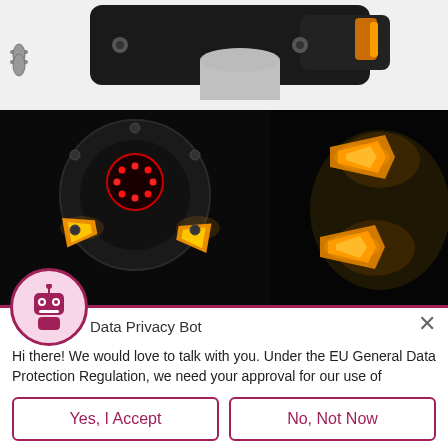[Figure (photo): Partial top view of motorcycle turn signal / handlebar accessory on white background]
[Figure (photo): Left: motorcycle tail light assembly showing red LED brake light and amber turn signals glowing on dark bike. Right: two amber LED arrow-shaped turn signal lights glowing against dark background]
[Figure (photo): Partial view of round motorcycle light unit on dark background]
Data Privacy Bot
Hi there! We would love to talk with you. Under the EU General Data Protection Regulation, we need your approval for our use of personal information (e.g. your name and email address) you may provide as we communicate:
Yes, I Accept
No, Not Now